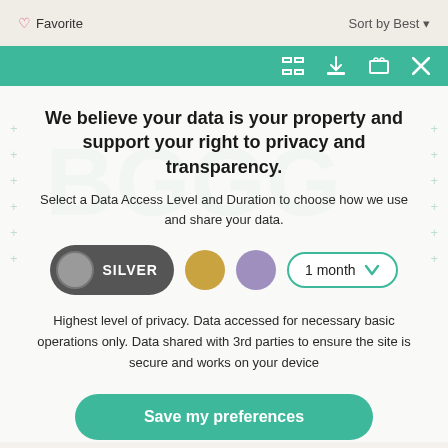Favorite   Sort by Best
We believe your data is your property and support your right to privacy and transparency.
Select a Data Access Level and Duration to choose how we use and share your data.
[Figure (other): Privacy level selector with SILVER pill button (dark gray with gray circle), gold circle, purple circle, and a 1 month dropdown with teal border]
Highest level of privacy. Data accessed for necessary basic operations only. Data shared with 3rd parties to ensure the site is secure and works on your device
Save my preferences
Customize   Privacy policy